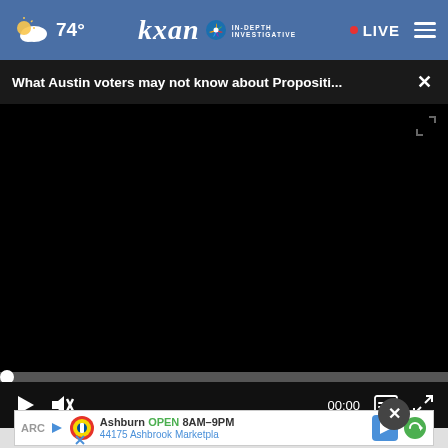74° kxan IN-DEPTH INVESTIGATIVE • LIVE
What Austin voters may not know about Propositi... ×
[Figure (screenshot): Black video player area showing a paused/unloaded video with progress bar at 0:00 and playback controls (play button, mute button, time display 00:00, captions button, fullscreen button)]
[Figure (screenshot): Advertisement banner showing Lidl store: 'Ashburn OPEN 8AM-9PM, 44175 Ashbrook Marketpla' with navigation and refresh icons. Also shows partially visible 'ARC' text on left edge.]